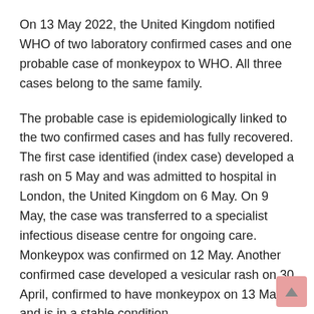On 13 May 2022, the United Kingdom notified WHO of two laboratory confirmed cases and one probable case of monkeypox to WHO. All three cases belong to the same family.
The probable case is epidemiologically linked to the two confirmed cases and has fully recovered. The first case identified (index case) developed a rash on 5 May and was admitted to hospital in London, the United Kingdom on 6 May. On 9 May, the case was transferred to a specialist infectious disease centre for ongoing care. Monkeypox was confirmed on 12 May. Another confirmed case developed a vesicular rash on 30 April, confirmed to have monkeypox on 13 May, and is in a stable condition.